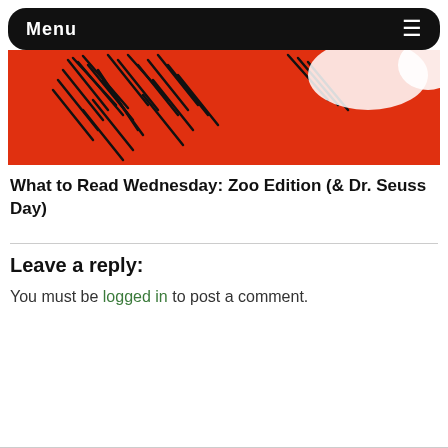Menu
[Figure (photo): Partial book cover image with red background and black illustrated lines/sketch, likely a Dr. Seuss book cover cropped at the top]
What to Read Wednesday: Zoo Edition (& Dr. Seuss Day)
Leave a reply:
You must be logged in to post a comment.